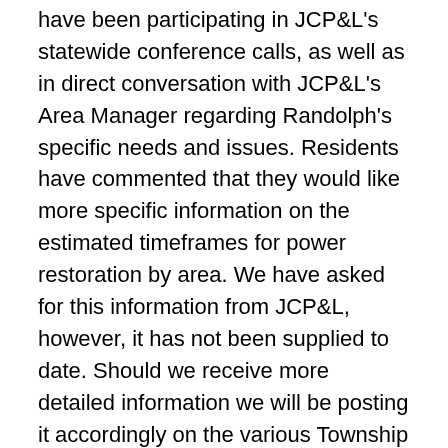have been participating in JCP&L's statewide conference calls, as well as in direct conversation with JCP&L's Area Manager regarding Randolph's specific needs and issues. Residents have commented that they would like more specific information on the estimated timeframes for power restoration by area. We have asked for this information from JCP&L, however, it has not been supplied to date. Should we receive more detailed information we will be posting it accordingly on the various Township communication mediums (Website, Facebook Page, Twitter, SwiftReach Alert).
* The Mayor and Manager have also spent significant amount of time in the field assessing issues, visiting warming centers, talking directly to residents and coordinating with emergency personnel. Other members of the Township Council have also spent time speaking to constituents about the storm issues and relaying information regarding resident needs to the Township Manager. In addition, the Mayor is also a member about